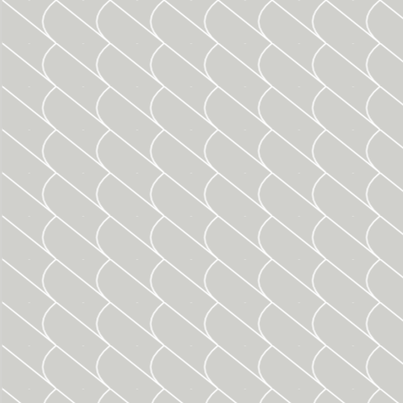[Figure (illustration): Left panel with light grey scallop/fish-scale repeating pattern background covering roughly the left half of the page.]
[Figure (logo): A circular golden/orange badge or button partially visible in the upper right corner area.]
But remember yo
Here are the de
1. Make sure and link bac when sharing our sketch o
(DO NOT US http://sketc
2. Link your layout or card sidebar. Make sure and lin allow us to easily Have fun, we ca
Link up your projec